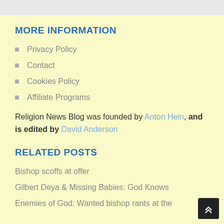MORE INFORMATION
Privacy Policy
Contact
Cookies Policy
Affiliate Programs
Religion News Blog was founded by Anton Hein, and is edited by David Anderson
RELATED POSTS
Bishop scoffs at offer
Gilbert Deya & Missing Babies: God Knows
Enemies of God: Wanted bishop rants at the